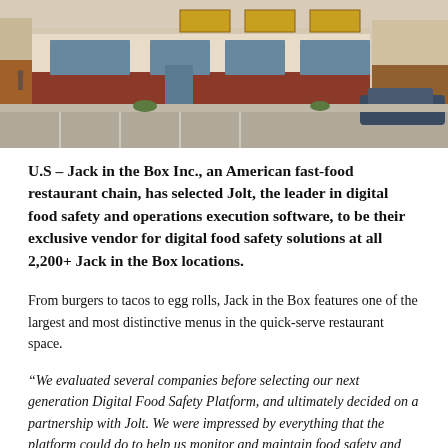[Figure (photo): Exterior photo of a Jack in the Box fast-food restaurant building with red brick facade, large windows, parking lot in foreground, and clear sky.]
U.S – Jack in the Box Inc., an American fast-food restaurant chain, has selected Jolt, the leader in digital food safety and operations execution software, to be their exclusive vendor for digital food safety solutions at all 2,200+ Jack in the Box locations.
From burgers to tacos to egg rolls, Jack in the Box features one of the largest and most distinctive menus in the quick-serve restaurant space.
“We evaluated several companies before selecting our next generation Digital Food Safety Platform, and ultimately decided on a partnership with Jolt. We were impressed by everything that the platform could do to help us monitor and maintain food safety and